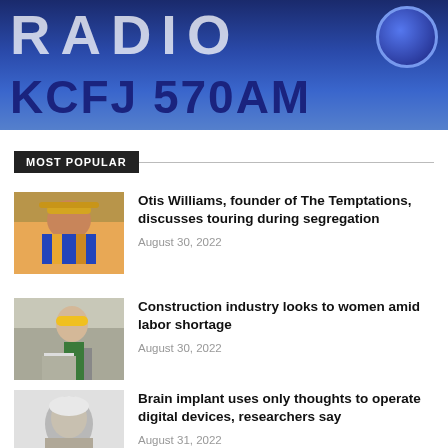[Figure (logo): RADIO KCFJ 570AM station logo with dark blue gradient background and large white/navy text]
MOST POPULAR
[Figure (photo): Man wearing a wide-brim hat and colorful patterned shirt, seated indoors]
Otis Williams, founder of The Temptations, discusses touring during segregation
August 30, 2022
[Figure (photo): Construction worker wearing a yellow hard hat working on a wall]
Construction industry looks to women amid labor shortage
August 30, 2022
[Figure (photo): Black and white photo of an elderly smiling person]
Brain implant uses only thoughts to operate digital devices, researchers say
August 31, 2022